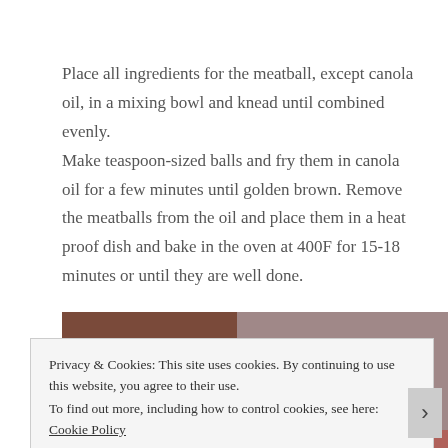Place all ingredients for the meatball, except canola oil, in a mixing bowl and knead until combined evenly.
Make teaspoon-sized balls and fry them in canola oil for a few minutes until golden brown. Remove the meatballs from the oil and place them in a heat proof dish and bake in the oven at 400F for 15-18 minutes or until they are well done.
[Figure (photo): Partial photo of meatballs or food dish, partially obscured by a cookie consent banner]
Privacy & Cookies: This site uses cookies. By continuing to use this website, you agree to their use.
To find out more, including how to control cookies, see here: Cookie Policy
Close and accept